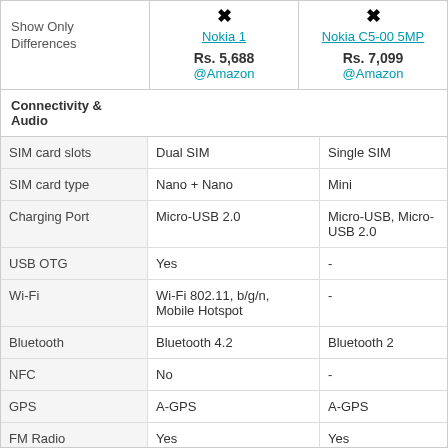|  | Nokia 1 | Nokia C5-00 5MP |
| --- | --- | --- |
| Show Only Differences | Rs. 5,688
@Amazon | Rs. 7,099
@Amazon |
| Connectivity & Audio |  |  |
| SIM card slots | Dual SIM | Single SIM |
| SIM card type | Nano + Nano | Mini |
| Charging Port | Micro-USB 2.0 | Micro-USB, Micro-USB 2.0 |
| USB OTG | Yes | - |
| Wi-Fi | Wi-Fi 802.11, b/g/n, Mobile Hotspot | - |
| Bluetooth | Bluetooth 4.2 | Bluetooth 2 |
| NFC | No | - |
| GPS | A-GPS | A-GPS |
| FM Radio | Yes | Yes |
| Loudspeaker | Yes | Yes |